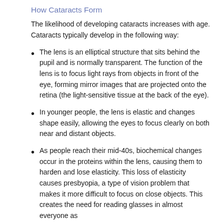How Cataracts Form
The likelihood of developing cataracts increases with age. Cataracts typically develop in the following way:
The lens is an elliptical structure that sits behind the pupil and is normally transparent. The function of the lens is to focus light rays from objects in front of the eye, forming mirror images that are projected onto the retina (the light-sensitive tissue at the back of the eye).
In younger people, the lens is elastic and changes shape easily, allowing the eyes to focus clearly on both near and distant objects.
As people reach their mid-40s, biochemical changes occur in the proteins within the lens, causing them to harden and lose elasticity. This loss of elasticity causes presbyopia, a type of vision problem that makes it more difficult to focus on close objects. This creates the need for reading glasses in almost everyone as